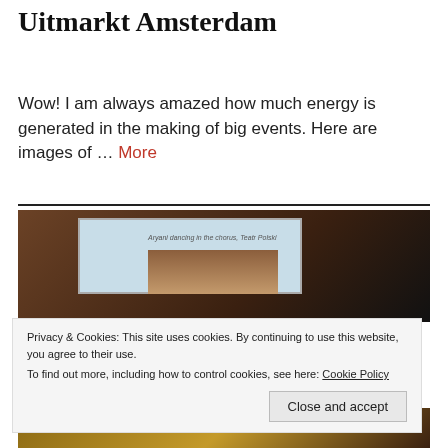Uitmarkt Amsterdam
Wow! I am always amazed how much energy is generated in the making of big events. Here are images of … More
[Figure (photo): Photo of a projection screen showing text 'Aryani dancing in the chorus, Teatr Polski' with a dark reddish-brown background]
Privacy & Cookies: This site uses cookies. By continuing to use this website, you agree to their use.
To find out more, including how to control cookies, see here: Cookie Policy
[Figure (photo): Partial photo at bottom of page with warm golden/brown tones]